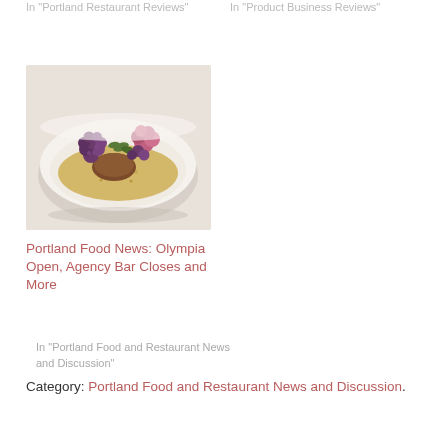In "Portland Restaurant Reviews"
In "Product Business Reviews"
[Figure (photo): A white bowl filled with grains, purple grapes, roasted meat, and fresh herbs/greens on a light background]
Portland Food News: Olympia Open, Agency Bar Closes and More
In "Portland Food and Restaurant News and Discussion"
Category: Portland Food and Restaurant News and Discussion.